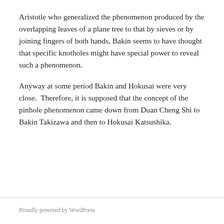Aristotle who generalized the phenomenon produced by the overlapping leaves of a plane tree to that by sieves or by joining fingers of both hands, Bakin seems to have thought that specific knotholes might have special power to reveal such a phenomenon.
Anyway at some period Bakin and Hokusai were very close.  Therefore, it is supposed that the concept of the pinhole phenomenon came down from Duan Cheng Shi to Bakin Takizawa and then to Hokusai Katsushika.
Proudly powered by WordPress